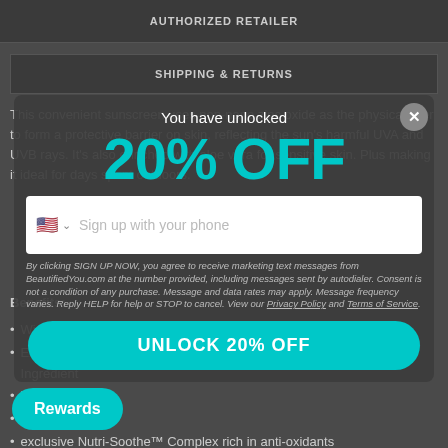AUTHORIZED RETAILER
SHIPPING & RETURNS
This convenient sunscreen uses non-nano zinc oxide as the physical filter to form a protective barrier on skin, reflecting the sun's harmful UVA and UVB rays. It's also enriched with aloe vera for sensitive skin. Plus making it ideal for days spent outdoors.
Benefits:
Winner Redbook Award for Best Sunscreen
Extra Sensitive Sunscreen with 100% Non-Nano Zinc Oxide Active Ingredient
Ultra-s...
Fragra...
exclusive Nutri-Soothe™ Complex rich in anti-oxidants
Reef safe, and contains no oxybenzone or octinoxate
You have unlocked
20% OFF
Sign up with your phone
By clicking SIGN UP NOW, you agree to receive marketing text messages from BeautifiedYou.com at the number provided, including messages sent by autodialer. Consent is not a condition of any purchase. Message and data rates may apply. Message frequency varies. Reply HELP for help or STOP to cancel. View our Privacy Policy and Terms of Service.
UNLOCK 20% OFF
Rewards